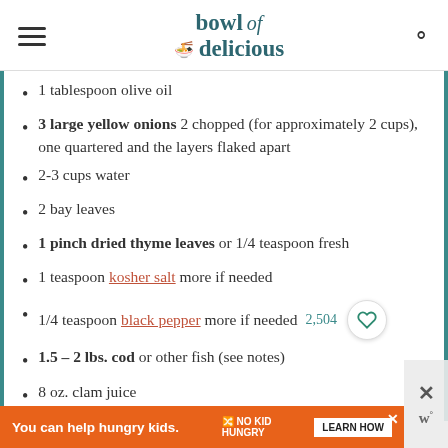bowl of delicious
1 tablespoon olive oil
3 large yellow onions 2 chopped (for approximately 2 cups), one quartered and the layers flaked apart
2-3 cups water
2 bay leaves
1 pinch dried thyme leaves or 1/4 teaspoon fresh
1 teaspoon kosher salt more if needed
1/4 teaspoon black pepper more if needed 2,504
1.5 – 2 lbs. cod or other fish (see notes)
8 oz. clam juice
You can help hungry kids. NO KID HUNGRY LEARN HOW